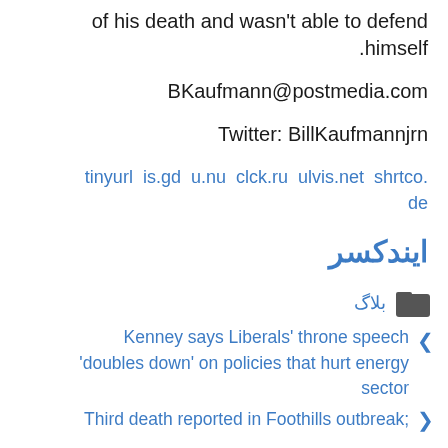of his death and wasn't able to defend himself.
BKaufmann@postmedia.com
Twitter: BillKaufmannjrn
tinyurl is.gd u.nu clck.ru ulvis.net shrtco.de
ایندکسر
بلاگ
Kenney says Liberals' throne speech 'doubles down' on policies that hurt energy sector
Third death reported in Foothills outbreak;